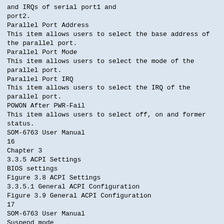and IRQs of serial port1 and port2.
Parallel Port Address
This item allows users to select the base address of the parallel port.
Parallel Port Mode
This item allows users to select the mode of the parallel port.
Parallel Port IRQ
This item allows users to select the IRQ of the parallel port.
POWON After PWR-Fail
This item allows users to select off, on and former status.
SOM-6763 User Manual
16
Chapter 3
3.3.5 ACPI Settings
BIOS settings
Figure 3.8 ACPI Settings
3.3.5.1 General ACPI Configuration
Figure 3.9 General ACPI Configuration
17
SOM-6763 User Manual
Suspend mode
Select the ACPI state used for system suspend.
Report Video on S3 Resume
This item allows users to invoke VGA BIOS POST on S3/STR resume.
3.3.5.2 Advanced ACPI Configuration
Figure 3.10 Advanced ACPI Configuration
ACPI version features
This item allows users to enable RSDP pointers to 64-